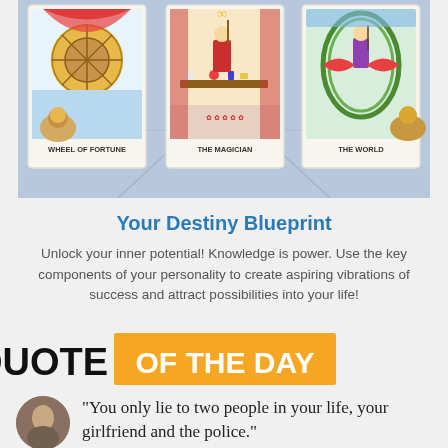[Figure (illustration): Tarot cards display showing three cards: Wheel of Fortune, The Magician, and The World, arranged in a row against a blue background with a figure illustration behind them.]
Your Destiny Blueprint
Unlock your inner potential! Knowledge is power. Use the key components of your personality to create aspiring vibrations of success and attract possibilities into your life!
[Figure (infographic): Quote of the Day banner with black text QUOTE and orange background text OF THE DAY]
“You only lie to two people in your life, your girlfriend and the police.”